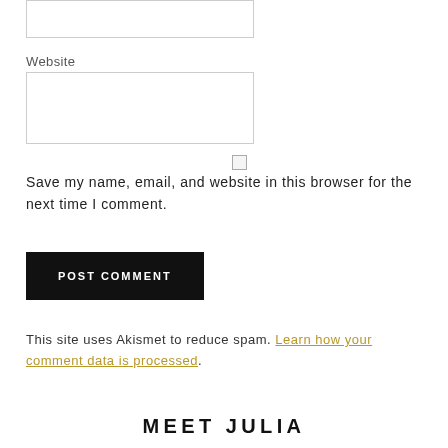[Figure (other): Empty text input box (top, partially visible)]
Website
[Figure (other): Empty text input box for Website field]
[Figure (other): Checkbox (unchecked)]
Save my name, email, and website in this browser for the next time I comment.
[Figure (other): POST COMMENT button (black background, white uppercase text)]
This site uses Akismet to reduce spam. Learn how your comment data is processed.
MEET JULIA